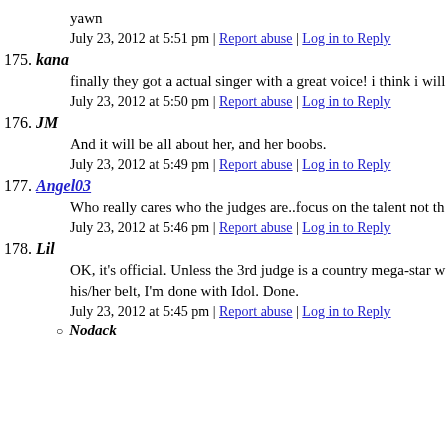yawn
July 23, 2012 at 5:51 pm | Report abuse | Log in to Reply
175. kana
finally they got a actual singer with a great voice! i think i will
July 23, 2012 at 5:50 pm | Report abuse | Log in to Reply
176. JM
And it will be all about her, and her boobs.
July 23, 2012 at 5:49 pm | Report abuse | Log in to Reply
177. Angel03
Who really cares who the judges are..focus on the talent not th
July 23, 2012 at 5:46 pm | Report abuse | Log in to Reply
178. Lil
OK, it's official. Unless the 3rd judge is a country mega-star w his/her belt, I'm done with Idol. Done.
July 23, 2012 at 5:45 pm | Report abuse | Log in to Reply
Nodack